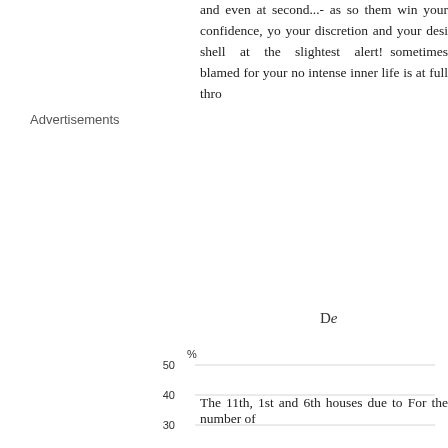and even at second...- as so them win your confidence, yo your discretion and your desi shell at the slightest alert! sometimes blamed for your no intense inner life is at full thro
De
Advertisements
[Figure (bar-chart): ]
The 11th, 1st and 6th houses due to For the number of